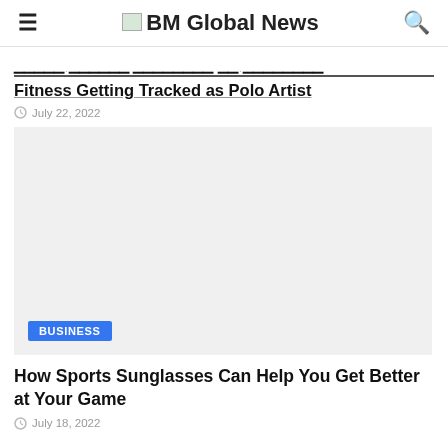BM Global News
Fitness Getting Tracked as Polo Artist
July 22, 2022
[Figure (photo): Article image placeholder with BUSINESS category badge]
How Sports Sunglasses Can Help You Get Better at Your Game
July 18, 2022